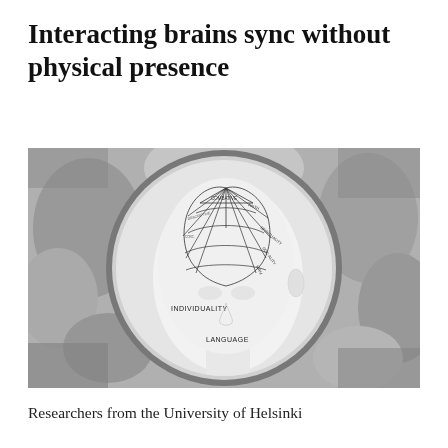Interacting brains sync without physical presence
[Figure (photo): Black and white photograph of a phrenology head bust viewed through a circular frame or tube, with brain regions labeled including INDIVIDUALITY and LANGUAGE visible on the side of the head.]
Researchers from the University of Helsinki